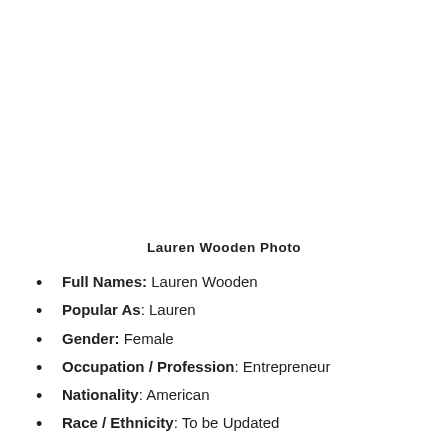[Figure (photo): Lauren Wooden photo placeholder (blank white area)]
Lauren Wooden Photo
Full Names: Lauren Wooden
Popular As: Lauren
Gender: Female
Occupation / Profession: Entrepreneur
Nationality: American
Race / Ethnicity: To be Updated